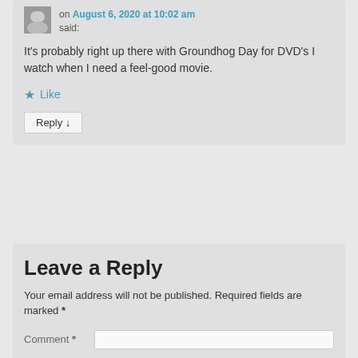on August 6, 2020 at 10:02 am said:
It's probably right up there with Groundhog Day for DVD's I watch when I need a feel-good movie.
★ Like
Reply ↓
Leave a Reply
Your email address will not be published. Required fields are marked *
Comment *